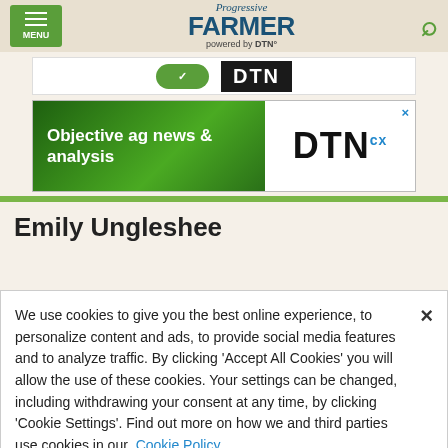Progressive Farmer powered by DTN
[Figure (screenshot): Advertisement banner with DTN logo and green button]
[Figure (screenshot): DTN advertisement: 'Objective ag news & analysis' with DTN logo]
Emily Ungleshee
We use cookies to give you the best online experience, to personalize content and ads, to provide social media features and to analyze traffic. By clicking 'Accept All Cookies' you will allow the use of these cookies. Your settings can be changed, including withdrawing your consent at any time, by clicking 'Cookie Settings'. Find out more on how we and third parties use cookies in our Cookie Policy
Accept and Close ×
Your browser settings do not allow cross-site tracking for advertising. Click on this page to allow AdRoll to use cross-site tracking to tailor ads to you. Learn more or opt out of this AdRoll tracking by clicking here. This message only appears once.